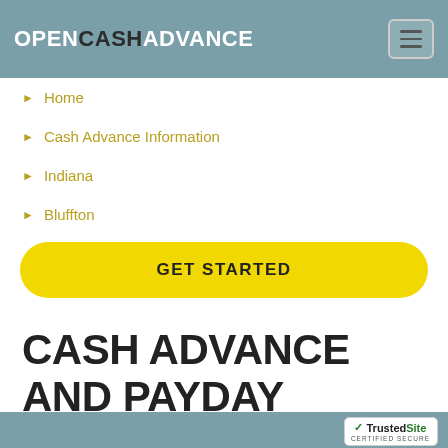OPENCASHADVANCE
Home
Cash Advance Information
Indiana
Bluffton
GET STARTED
CASH ADVANCE AND PAYDAY LOANS IN BLUFFTON, IN.
TrustedSite CERTIFIED SECURE